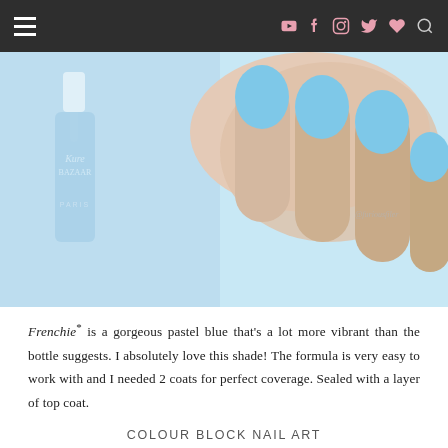Navigation bar with hamburger menu and social media icons (YouTube, Facebook, Instagram, Twitter, Heart, Search)
[Figure (photo): Photo of blue nail polish bottle (Kure Bazaar Paris, 'Frenchie') next to a hand with nails painted in the same pastel blue shade. Watermark @furiousfiler visible.]
Frenchie* is a gorgeous pastel blue that's a lot more vibrant than the bottle suggests. I absolutely love this shade! The formula is very easy to work with and I needed 2 coats for perfect coverage. Sealed with a layer of top coat.
COLOUR BLOCK NAIL ART